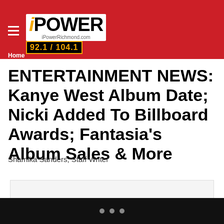iPOWER 92.1 / 104.1 — Home
ENTERTAINMENT NEWS: Kanye West Album Date; Nicki Added To Billboard Awards; Fantasia's Album Sales & More
Shamika Sanders, Staff Writer
[Figure (other): iPowerRichmond Featured Video player box]
[Figure (other): Navigation dots / carousel indicator at bottom of page]